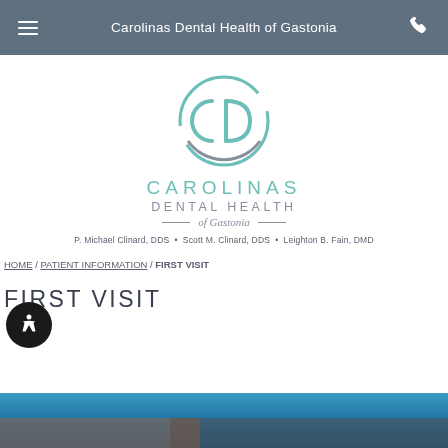Carolinas Dental Health of Gastonia
[Figure (logo): Carolinas Dental Health of Gastonia circular logo with CD initials in teal and gray]
CAROLINAS DENTAL HEALTH of Gastonia
P. Michael Clinard, DDS • Scott M. Clinard, DDS • Leighton B. Fain, DMD
HOME / PATIENT INFORMATION / FIRST VISIT
FIRST VISIT
[Figure (photo): Partial photo of dental office or patients, teal/blue tones, partially visible at bottom of page]